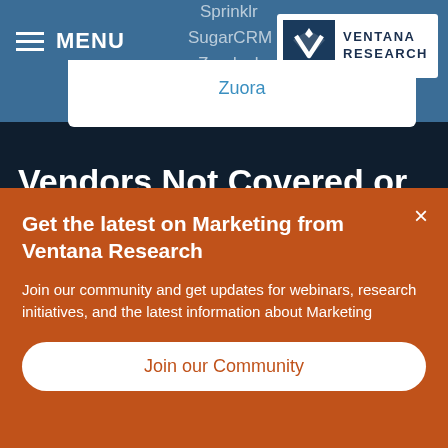≡ MENU
[Figure (logo): Ventana Research logo — white V-shape in a dark blue square, with VENTANA RESEARCH text]
Sprinklr
SugarCRM
Zendesk
Zoho
Zuora
Vendors Not Covered or
Get the latest on Marketing from Ventana Research
Join our community and get updates for webinars, research initiatives, and the latest information about Marketing
Join our Community